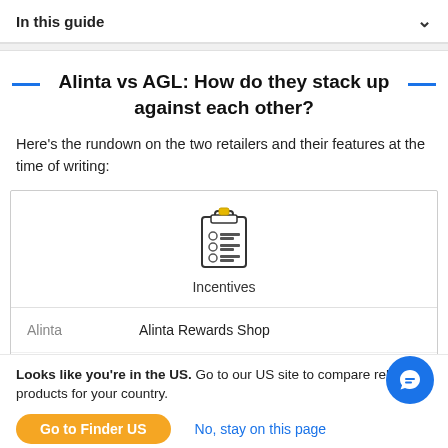In this guide
Alinta vs AGL: How do they stack up against each other?
Here's the rundown on the two retailers and their features at the time of writing:
|  | Incentives |
| --- | --- |
| Alinta | Alinta Rewards Shop |
| AGL | Flybuys points, fixed rate plans |
Looks like you're in the US. Go to our US site to compare rele products for your country.